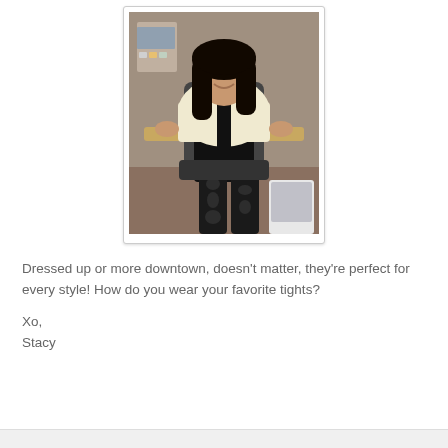[Figure (photo): A woman with long dark hair sitting in an office chair, wearing a white/cream jacket over a black top and a black skirt with patterned tights featuring dark spots/shapes. She is seated at a desk in an office setting.]
Dressed up or more downtown, doesn't matter, they're perfect for every style! How do you wear your favorite tights?
Xo,
Stacy